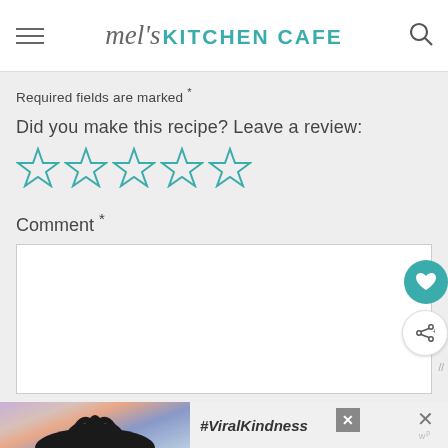mel's KITCHEN CAFE
Required fields are marked *
Did you make this recipe? Leave a review:
[Figure (other): Five empty star rating icons in teal/cyan color]
Comment *
[Figure (other): Empty comment text box]
[Figure (other): Advertisement banner with heart hands silhouette and text #ViralKindness]